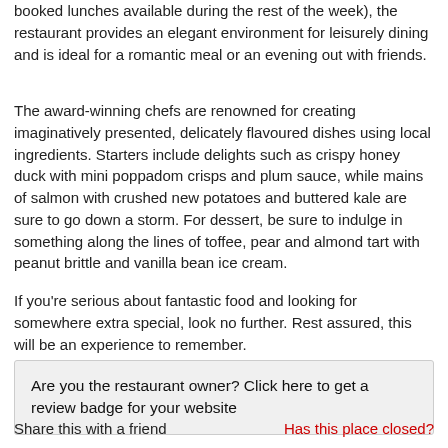booked lunches available during the rest of the week), the restaurant provides an elegant environment for leisurely dining and is ideal for a romantic meal or an evening out with friends.
The award-winning chefs are renowned for creating imaginatively presented, delicately flavoured dishes using local ingredients. Starters include delights such as crispy honey duck with mini poppadom crisps and plum sauce, while mains of salmon with crushed new potatoes and buttered kale are sure to go down a storm. For dessert, be sure to indulge in something along the lines of toffee, pear and almond tart with peanut brittle and vanilla bean ice cream.
If you're serious about fantastic food and looking for somewhere extra special, look no further. Rest assured, this will be an experience to remember.
Are you the restaurant owner? Click here to get a review badge for your website
Share this with a friend
Has this place closed?